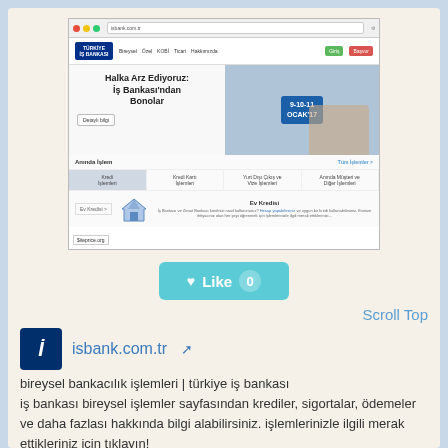[Figure (screenshot): Screenshot of isbank.com.tr website showing 'Halka Arz Ediyoruz: İş Bankası'ndan Bonolar' promotion with dates 9-10-11 OCAK'17, navigation bar, Anında İşlem section, and Ev Kredisi section. Watermark: $iteprice.org]
[Figure (other): Teal/cyan Like button with heart icon and count 0]
Scroll Top
[Figure (logo): İş Bankası logo - dark blue square with İ symbol]
isbank.com.tr
bireysel bankacılık işlemleri | türkiye iş bankası
iş bankası bireysel işlemler sayfasından krediler, sigortalar, ödemeler ve daha fazlası hakkında bilgi alabilirsiniz. işlemlerinizle ilgili merak ettikleriniz için tıklayın!